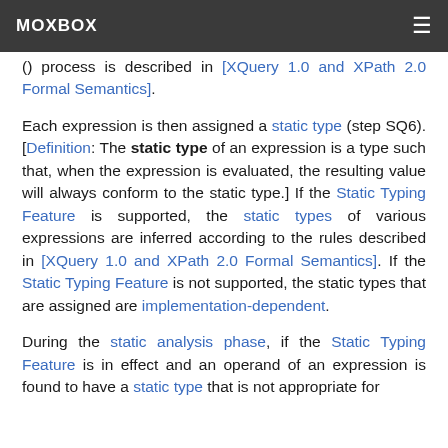MOXBOX
process is described in [XQuery 1.0 and XPath 2.0 Formal Semantics].
Each expression is then assigned a static type (step SQ6). [Definition: The static type of an expression is a type such that, when the expression is evaluated, the resulting value will always conform to the static type.] If the Static Typing Feature is supported, the static types of various expressions are inferred according to the rules described in [XQuery 1.0 and XPath 2.0 Formal Semantics]. If the Static Typing Feature is not supported, the static types that are assigned are implementation-dependent.
During the static analysis phase, if the Static Typing Feature is in effect and an operand of an expression is found to have a static type that is not appropriate for